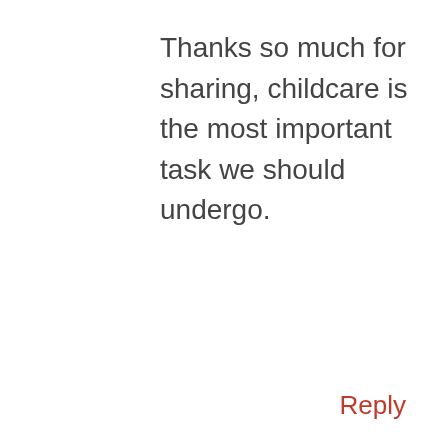Thanks so much for sharing, childcare is the most important task we should undergo.
Reply
HEATHER
MAY 12, 2015 AT 7:32 PM
Well I have to admit that my
[Figure (screenshot): Mobile ad banner with restaurant logo, Dine-in and Curbside pickup options, navigation arrow, and close button]